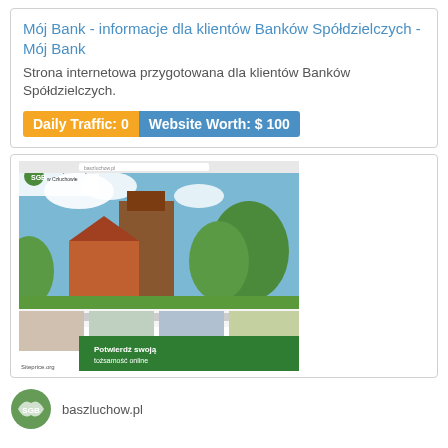Mój Bank - informacje dla klientów Banków Spółdzielczych - Mój Bank
Strona internetowa przygotowana dla klientów Banków Spółdzielczych.
Daily Traffic: 0   Website Worth: $ 100
[Figure (screenshot): Screenshot of Bank Spółdzielczy w Człuchowie website (SGB), showing a building with a tower, group photos of customers, and a section titled 'Potwierdź swoją tożsamość online'. Watermark: Siteprice.org]
[Figure (logo): Partial logo/icon at bottom left, with partial URL baszluchow.pl visible]